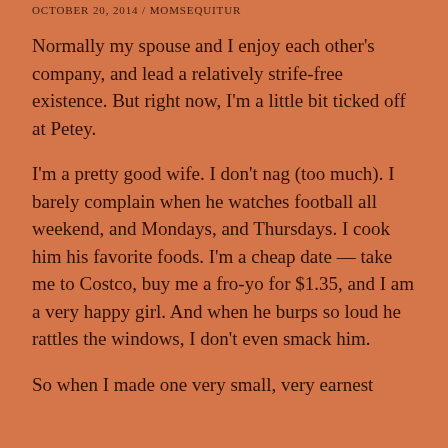OCTOBER 20, 2014 / MOMSEQUITUR
Normally my spouse and I enjoy each other's company, and lead a relatively strife-free existence. But right now, I'm a little bit ticked off at Petey.
I'm a pretty good wife. I don't nag (too much). I barely complain when he watches football all weekend, and Mondays, and Thursdays. I cook him his favorite foods. I'm a cheap date — take me to Costco, buy me a fro-yo for $1.35, and I am a very happy girl. And when he burps so loud he rattles the windows, I don't even smack him.
So when I made one very small, very earnest